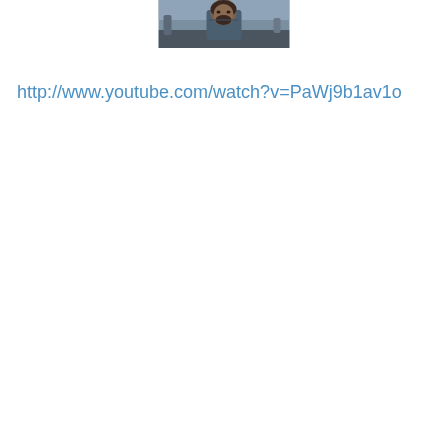[Figure (photo): A screenshot from a YouTube video thumbnail showing a man with a weathered, distressed appearance outdoors.]
http://www.youtube.com/watch?v=PaWj9b1av1o